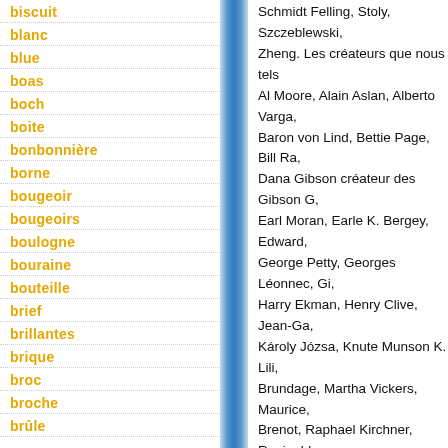biscuit
blanc
blue
boas
boch
boite
bonbonnière
borne
bougeoir
bougeoirs
boulogne
bouraine
bouteille
brief
brillantes
brique
broc
broche
brûle
Schmidt Felling, Stoly, Szczeblewski, Zheng. Les créateurs que nous tels Al Moore, Alain Aslan, Alberto Varga, Baron von Lind, Bettie Page, Bill Ra, Dana Gibson créateur des Gibson G, Earl Moran, Earle K. Bergey, Edward, George Petty, Georges Léonnec, Gi, Harry Ekman, Henry Clive, Jean-Ga, Károly Józsa, Knute Munson K. Lili, Brundage, Martha Vickers, Maurice, Brenot, Raphael Kirchner, Reginald, Rolf Armstrong, Rudolph Belarski, R, Meunier, T. Thompson, Ted Withers, Mozert, sont déterminants dans nos, célèbre modèles comme ; André de, Ava Gardner, Betty Boop, Betty Gra, Diana Dors, Donna Reed, Dorothy L, Montgomery, Esther Williams, Gene, Lamarr, Jane Russell, Jayne Mansfi, Lana Turner, Lauren Bacall, Linda D, Monroe, Pin-up de fiction, Rita Hayw